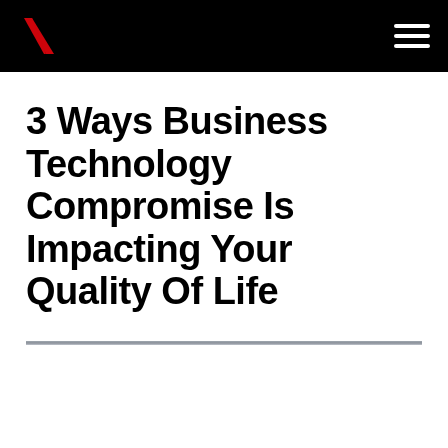Verizon navigation bar with logo and hamburger menu
3 Ways Business Technology Compromise Is Impacting Your Quality Of Life